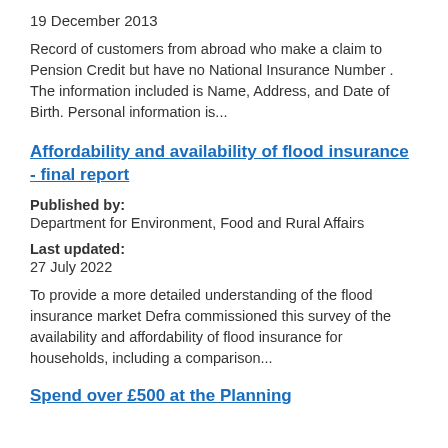19 December 2013
Record of customers from abroad who make a claim to Pension Credit but have no National Insurance Number . The information included is Name, Address, and Date of Birth. Personal information is...
Affordability and availability of flood insurance - final report
Published by:
Department for Environment, Food and Rural Affairs
Last updated:
27 July 2022
To provide a more detailed understanding of the flood insurance market Defra commissioned this survey of the availability and affordability of flood insurance for households, including a comparison...
Spend over £500 at the Planning